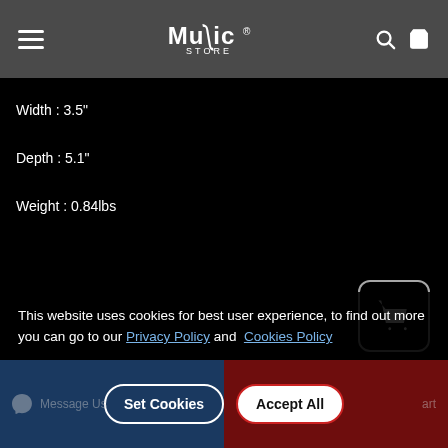Music Store
Width : 3.5"
Depth : 5.1"
Weight : 0.84lbs
[Figure (screenshot): Add to cart button icon in rounded rectangle border]
This website uses cookies for best user experience, to find out more you can go to our Privacy Policy and Cookies Policy
Set Cookies | Accept All